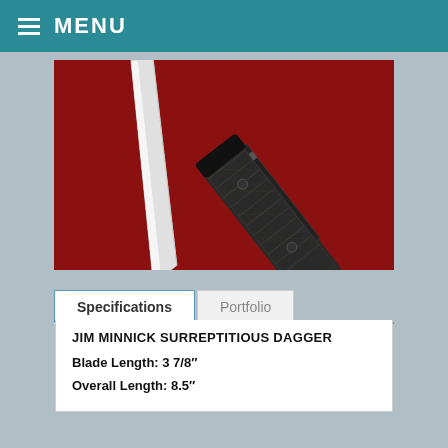MENU
[Figure (photo): A folding dagger knife with a silver double-edged blade and textured dark carbon fiber handle, displayed open and closed against a dark red background.]
Specifications | Portfolio
JIM MINNICK SURREPTITIOUS DAGGER
Blade Length: 3 7/8"
Overall Length: 8.5"